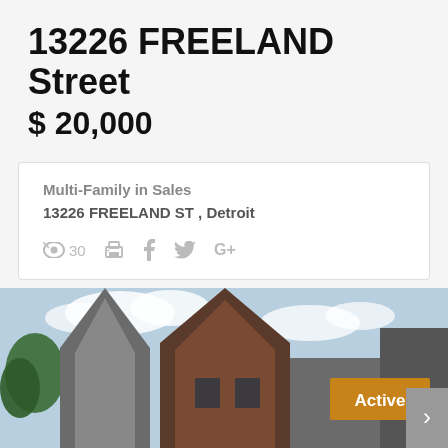13226 FREELAND Street
$ 20,000
Multi-Family in Sales
13226 FREELAND ST , Detroit
30
[Figure (photo): Exterior photo of a multi-family house with pointed brick and wood gable rooflines against a partly cloudy sky, with an 'Active' badge overlay in amber/gold color.]